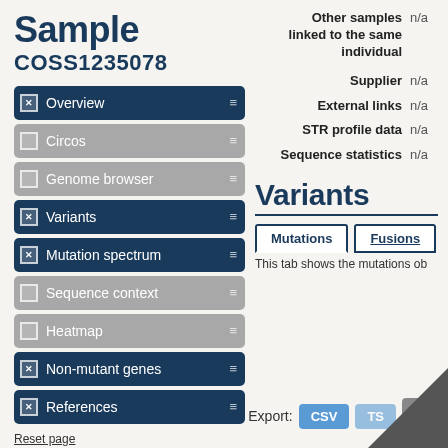Sample
COSS1235078
Overview (checked)
Circos (unchecked)
Genome browser (unchecked)
Variants (checked)
Mutation spectrum (checked)
Sequence context (unchecked)
Heatmap (unchecked)
Non-mutant genes (checked)
References (checked)
Reset page
Other samples linked to the same individual	n/a
Supplier	n/a
External links	n/a
STR profile data	n/a
Sequence statistics	n/a
Variants
Mutations | Fusions
This tab shows the mutations ob…